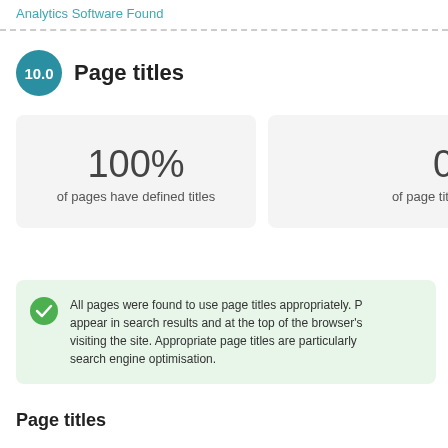Analytics Software Found
10.0  Page titles
100%
of pages have defined titles
0%
of page titles are
All pages were found to use page titles appropriately. P... appear in search results and at the top of the browser's... visiting the site. Appropriate page titles are particularly ... search engine optimisation.
Page titles